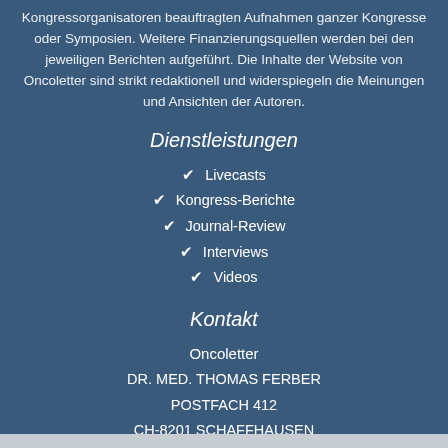Kongressorganisatoren beauftragten Aufnahmen ganzer Kongresse oder Symposien. Weitere Finanzierungsquellen werden bei den jeweiligen Berichten aufgeführt. Die Inhalte der Website von Oncoletter sind strikt redaktionell und widerspiegeln die Meinungen und Ansichten der Autoren.
Dienstleistungen
✓ Livecasts
✓ Kongress-Berichte
✓ Journal-Review
✓ Interviews
✓ Videos
Kontakt
Oncoletter
DR. MED. THOMAS FERBER
POSTFACH 412
CH-8201 SCHAFFHAUSEN
Mail: info[@]oncoletter.ch